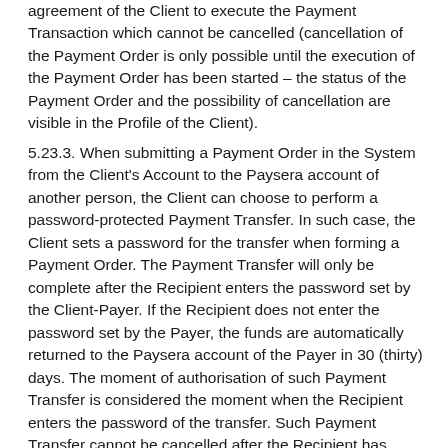agreement of the Client to execute the Payment Transaction which cannot be cancelled (cancellation of the Payment Order is only possible until the execution of the Payment Order has been started – the status of the Payment Order and the possibility of cancellation are visible in the Profile of the Client).
5.23.3. When submitting a Payment Order in the System from the Client's Account to the Paysera account of another person, the Client can choose to perform a password-protected Payment Transfer. In such case, the Client sets a password for the transfer when forming a Payment Order. The Payment Transfer will only be complete after the Recipient enters the password set by the Client-Payer. If the Recipient does not enter the password set by the Payer, the funds are automatically returned to the Paysera account of the Payer in 30 (thirty) days. The moment of authorisation of such Payment Transfer is considered the moment when the Recipient enters the password of the transfer. Such Payment Transfer cannot be cancelled after the Recipient has entered the password of the transfer. The Client is fully responsible for the appropriate and safe transfer of the payment password to the Recipient and assures that the password will only be disclosed to the Recipient.